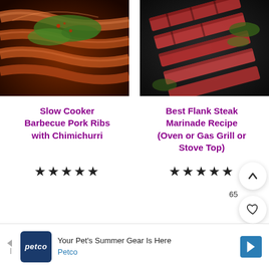[Figure (photo): Slow cooker barbecue pork ribs topped with chimichurri sauce on a dark background]
[Figure (photo): Sliced flank steak on a dark surface with green herbs]
Slow Cooker Barbecue Pork Ribs with Chimichurri
Best Flank Steak Marinade Recipe (Oven or Gas Grill or Stove Top)
★★★★★
★★★★★
[Figure (screenshot): Ad banner: Your Pet's Summer Gear Is Here - Petco advertisement]